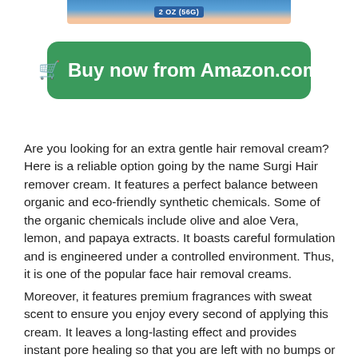[Figure (photo): Partial product image showing a hair removal cream container with '2 OZ (56G)' label at the top of the page]
🛒 Buy now from Amazon.com
Are you looking for an extra gentle hair removal cream? Here is a reliable option going by the name Surgi Hair remover cream. It features a perfect balance between organic and eco-friendly synthetic chemicals. Some of the organic chemicals include olive and aloe Vera, lemon, and papaya extracts. It boasts careful formulation and is engineered under a controlled environment. Thus, it is one of the popular face hair removal creams.
Moreover, it features premium fragrances with sweat scent to ensure you enjoy every second of applying this cream. It leaves a long-lasting effect and provides instant pore healing so that you are left with no bumps or any skin imperfection. It's easy to apply and is economical because you only need to a